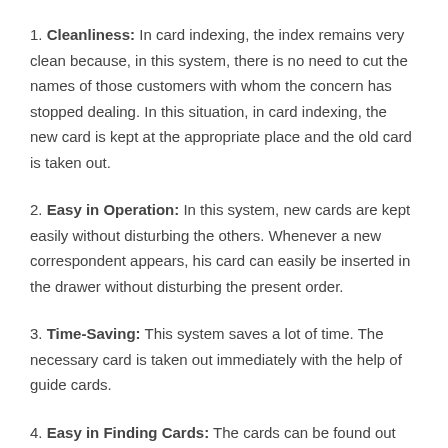1. Cleanliness: In card indexing, the index remains very clean because, in this system, there is no need to cut the names of those customers with whom the concern has stopped dealing. In this situation, in card indexing, the new card is kept at the appropriate place and the old card is taken out.
2. Easy in Operation: In this system, new cards are kept easily without disturbing the others. Whenever a new correspondent appears, his card can easily be inserted in the drawer without disturbing the present order.
3. Time-Saving: This system saves a lot of time. The necessary card is taken out immediately with the help of guide cards.
4. Easy in Finding Cards: The cards can be found out easily and quickly with the use of index or guide cards.
5. Only Current Cards Remain: If the correspondence with any